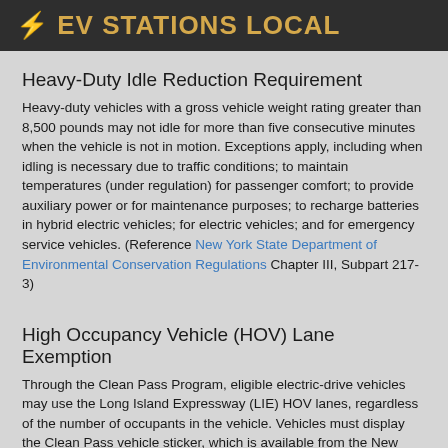⚡ EV STATIONS LOCAL
Heavy-Duty Idle Reduction Requirement
Heavy-duty vehicles with a gross vehicle weight rating greater than 8,500 pounds may not idle for more than five consecutive minutes when the vehicle is not in motion. Exceptions apply, including when idling is necessary due to traffic conditions; to maintain temperatures (under regulation) for passenger comfort; to provide auxiliary power or for maintenance purposes; to recharge batteries in hybrid electric vehicles; for electric vehicles; and for emergency service vehicles. (Reference New York State Department of Environmental Conservation Regulations Chapter III, Subpart 217-3)
High Occupancy Vehicle (HOV) Lane Exemption
Through the Clean Pass Program, eligible electric-drive vehicles may use the Long Island Expressway (LIE) HOV lanes, regardless of the number of occupants in the vehicle. Vehicles must display the Clean Pass vehicle sticker, which is available from the New York State Department of Motor Vehicles. To apply for the Clean